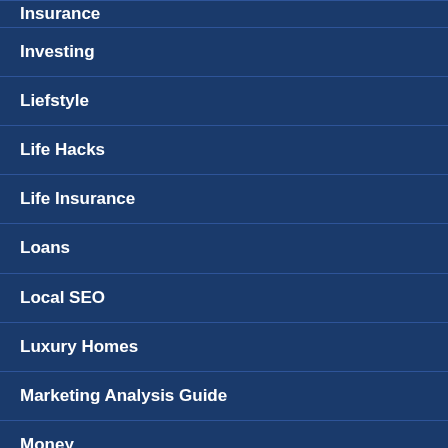Insurance
Investing
Liefstyle
Life Hacks
Life Insurance
Loans
Local SEO
Luxury Homes
Marketing Analysis Guide
Money
Money Management